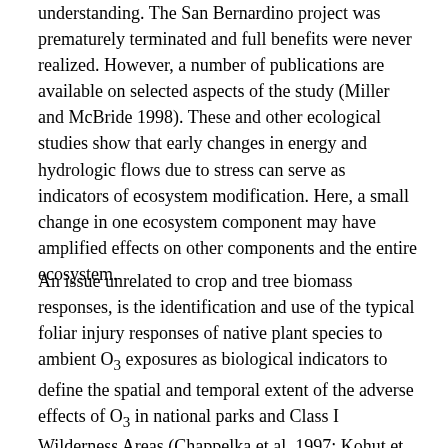understanding. The San Bernardino project was prematurely terminated and full benefits were never realized. However, a number of publications are available on selected aspects of the study (Miller and McBride 1998). These and other ecological studies show that early changes in energy and hydrologic flows due to stress can serve as indicators of ecosystem modification. Here, a small change in one ecosystem component may have amplified effects on other components and the entire ecosystem.
An issue unrelated to crop and tree biomass responses, is the identification and use of the typical foliar injury responses of native plant species to ambient O3 exposures as biological indicators to define the spatial and temporal extent of the adverse effects of O3 in national parks and Class I Wilderness Areas (Chappelka et al. 1997; Kohut et al. 1997). This approach is important in natural resource management in the context of environmental impacts. Such studies also have implications in our understanding of the plant community structure and biological diversity (Findley et al. 1997; Bergweiler and Manning 1999). Equally important, biological